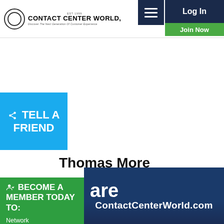Contact Center World — Est 1999 — Discover The Next Generation Of Customer Experience
[Figure (screenshot): Log In and Join Now buttons with hamburger menu icon in dark navy header area]
[Figure (infographic): Blue 'Tell A Friend' share button box on left side]
Thomas More
[Figure (infographic): Green 'Become A Member Today To: Network, Post Content, Enter Awards, + Much More' sidebar box]
[Figure (screenshot): Social media icons: Instagram, YouTube, LinkedIn, ContactCenterWorld (add)]
[Figure (screenshot): Dark blue banner with 'are' and 'ContactCenterWorld.com']